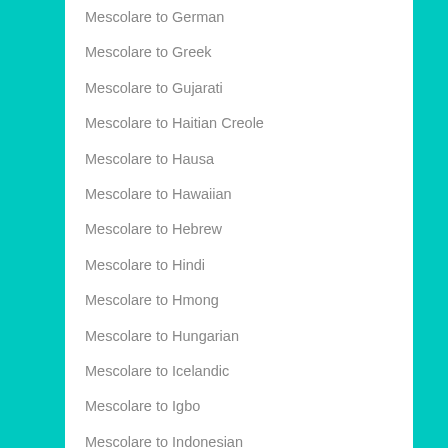Mescolare to German
Mescolare to Greek
Mescolare to Gujarati
Mescolare to Haitian Creole
Mescolare to Hausa
Mescolare to Hawaiian
Mescolare to Hebrew
Mescolare to Hindi
Mescolare to Hmong
Mescolare to Hungarian
Mescolare to Icelandic
Mescolare to Igbo
Mescolare to Indonesian
Mescolare to Irish